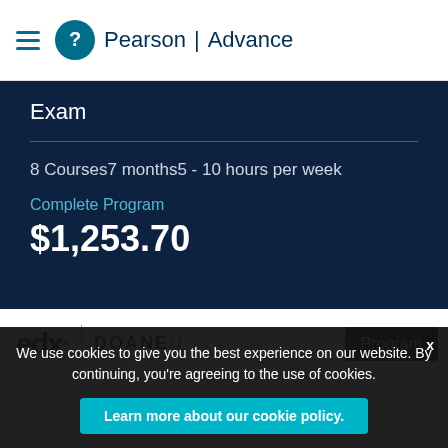Pearson | Advance
Exam
8 Courses7 months5 - 10 hours per week
Complete Program
$1,253.70
[Figure (logo): edX logo and DOANE university logo with Program button]
We use cookies to give you the best experience on our website. By continuing, you're agreeing to the use of cookies.
Learn more about our cookie policy.